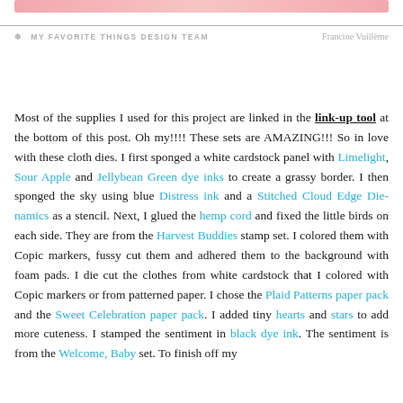❄ MY FAVORITE THINGS DESIGN TEAM    Francine Vuillème
Most of the supplies I used for this project are linked in the link-up tool at the bottom of this post. Oh my!!!! These sets are AMAZING!!! So in love with these cloth dies. I first sponged a white cardstock panel with Limelight, Sour Apple and Jellybean Green dye inks to create a grassy border. I then sponged the sky using blue Distress ink and a Stitched Cloud Edge Die-namics as a stencil. Next, I glued the hemp cord and fixed the little birds on each side. They are from the Harvest Buddies stamp set. I colored them with Copic markers, fussy cut them and adhered them to the background with foam pads. I die cut the clothes from white cardstock that I colored with Copic markers or from patterned paper. I chose the Plaid Patterns paper pack and the Sweet Celebration paper pack. I added tiny hearts and stars to add more cuteness. I stamped the sentiment in black dye ink. The sentiment is from the Welcome, Baby set. To finish off my